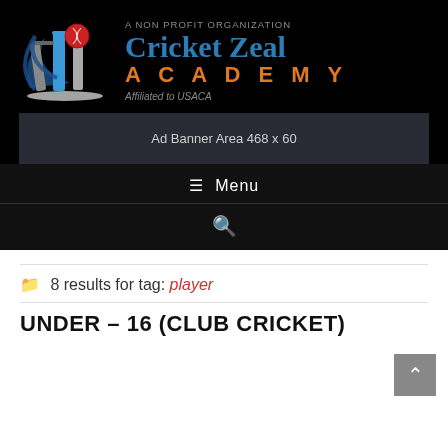[Figure (logo): Cricket Zeal Academy logo with cricket stumps and ball icon, dark background. Text: A NON PROFIT ORGANIZATION, Cricket Zeal, ACADEMY, Affiliated to USACA]
Ad Banner Area 468 x 60
≡ Menu
[Figure (other): Search icon (magnifying glass)]
8 results for tag: player
UNDER – 16 (CLUB CRICKET)